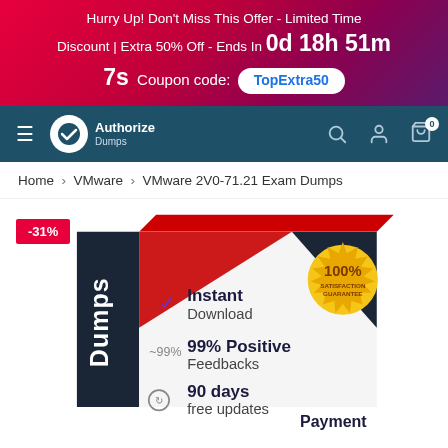Hurry Up! Don't Miss This Offer - Limited Time Discount | Extra 50% Off - Ends In 0d 18h 51m 7s  Coupon code: TopExtra50
[Figure (logo): AuthorizeDumps logo with checkmark in circle]
Home > VMware > VMware 2V0-71.21 Exam Dumps
[Figure (photo): Product box image for VMware 2V0-71.21 Exam Dumps showing -31% discount badge, with features: Instant Download (checkmark icon), 99% Positive Feedbacks, 90 days free updates, Payment (partially visible). Gold 100% Satisfaction Guarantee seal in top right corner.]